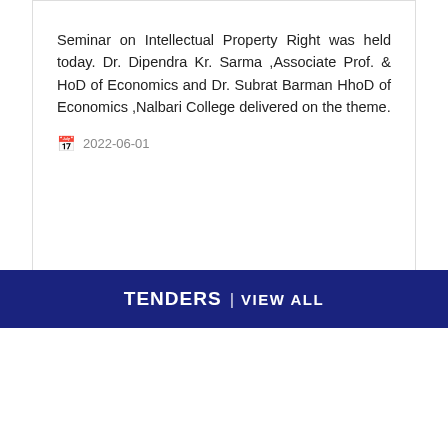Seminar on Intellectual Property Right was held today. Dr. Dipendra Kr. Sarma ,Associate Prof. & HoD of Economics and Dr. Subrat Barman HhoD of Economics ,Nalbari College delivered on the theme.
2022-06-01
TENDERS | VIEW ALL